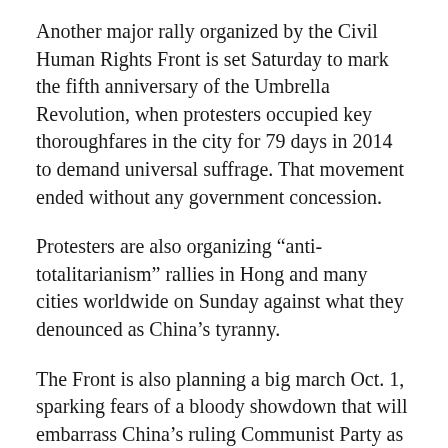Another major rally organized by the Civil Human Rights Front is set Saturday to mark the fifth anniversary of the Umbrella Revolution, when protesters occupied key thoroughfares in the city for 79 days in 2014 to demand universal suffrage. That movement ended without any government concession.
Protesters are also organizing “anti-totalitarianism” rallies in Hong and many cities worldwide on Sunday against what they denounced as China’s tyranny.
The Front is also planning a big march Oct. 1, sparking fears of a bloody showdown that will embarrass China’s ruling Communist Party as it marks its 70th year in power with grand festivities in Beijing. The Hong Kong government has scaled down National Day celebrations by calling off an annual firework display and moving a reception indoors.